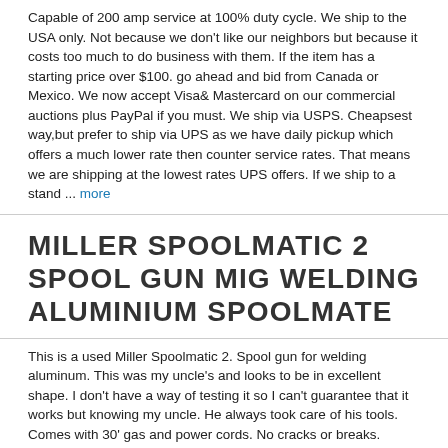Capable of 200 amp service at 100% duty cycle. We ship to the USA only. Not because we don't like our neighbors but because it costs too much to do business with them. If the item has a starting price over $100. go ahead and bid from Canada or Mexico. We now accept Visa& Mastercard on our commercial auctions plus PayPal if you must. We ship via USPS. Cheapsest way,but prefer to ship via UPS as we have daily pickup which offers a much lower rate then counter service rates. That means we are shipping at the lowest rates UPS offers. If we ship to a stand ... more
MILLER SPOOLMATIC 2 SPOOL GUN MIG WELDING ALUMINIUM SPOOLMATE
This is a used Miller Spoolmatic 2. Spool gun for welding aluminum. This was my uncle's and looks to be in excellent shape. I don't have a way of testing it so I can't guarantee that it works but knowing my uncle. He always took care of his tools. Comes with 30' gas and power cords. No cracks or breaks. Thanks. WAIT FOR AN INVOICE BEFORE PAYING! THE EBAY SHIPPING CALCULATOR IS AN ESTIMATE ONLY. I ONLY CHARGE ACTUAL SHIPPING. SO IT COULD BE MORE OR LESS THAN THE POSTED AMOUNT. EBAY INSISTS THAT A SHIPPING COST BE GIVEN BUT AS I DO NOT KNOW WERE EXACTLY THE BUYER OF THIS ITEM LIVES UNTIL THE AUCTION IS OVER, I CANNOT GIVE A PRECISE SHIPPING AMOUNT UNTIL I KNOW THAT LOCATION. I TRY TO DESCRIBE THE ITEM AS BEST AS I CAN AND TO THE BEST OF MY KNOWLEDGE. I SHIP BY POSTAL SERVICE GROUND. SHIPPING FROM CANADA TO THE U.S. USUALLY TAKES ... more